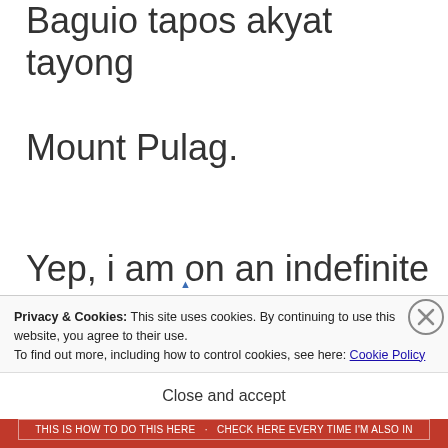Baguio tapos akyat tayong Mount Pulag.
Yep, i am on an indefinite soc med detox bes.
Privacy & Cookies: This site uses cookies. By continuing to use this website, you agree to their use.
To find out more, including how to control cookies, see here: Cookie Policy
Close and accept